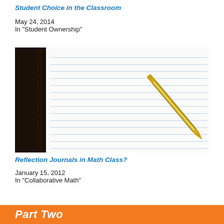Student Choice in the Classroom
May 24, 2014
In "Student Ownership"
[Figure (photo): A gold/silver ballpoint pen resting diagonally on an open lined notebook with a dark leather spine on the left side. The notebook pages are white with blue horizontal ruled lines.]
Reflection Journals in Math Class?
January 15, 2012
In "Collaborative Math"
Part Two